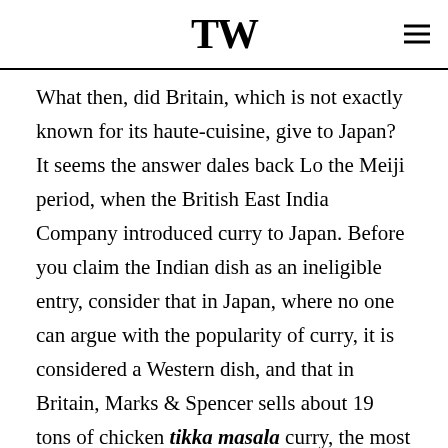TW
What then, did Britain, which is not exactly known for its haute-cuisine, give to Japan? It seems the answer dales back Lo the Meiji period, when the British East India Company introduced curry to Japan. Before you claim the Indian dish as an ineligible entry, consider that in Japan, where no one can argue with the popularity of curry, it is considered a Western dish, and that in Britain, Marks & Spencer sells about 19 tons of chicken tikka masala curry, the most popular variety in Britain, every week. So popular is tikka masala that since the late 90's, it has even been